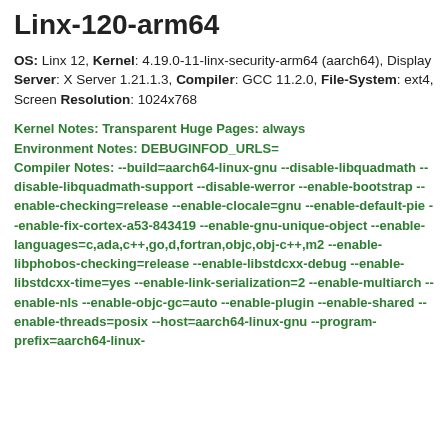Linx-120-arm64
OS: Linx 12, Kernel: 4.19.0-11-linx-security-arm64 (aarch64), Display Server: X Server 1.21.1.3, Compiler: GCC 11.2.0, File-System: ext4, Screen Resolution: 1024x768
Kernel Notes: Transparent Huge Pages: always
Environment Notes: DEBUGINFOD_URLS=
Compiler Notes: --build=aarch64-linux-gnu --disable-libquadmath --disable-libquadmath-support --disable-werror --enable-bootstrap --enable-checking=release --enable-clocale=gnu --enable-default-pie --enable-fix-cortex-a53-843419 --enable-gnu-unique-object --enable-languages=c,ada,c++,go,d,fortran,objc,obj-c++,m2 --enable-libphobos-checking=release --enable-libstdcxx-debug --enable-libstdcxx-time=yes --enable-link-serialization=2 --enable-multiarch --enable-nls --enable-objc-gc=auto --enable-plugin --enable-shared --enable-threads=posix --host=aarch64-linux-gnu --program-prefix=aarch64-linux-